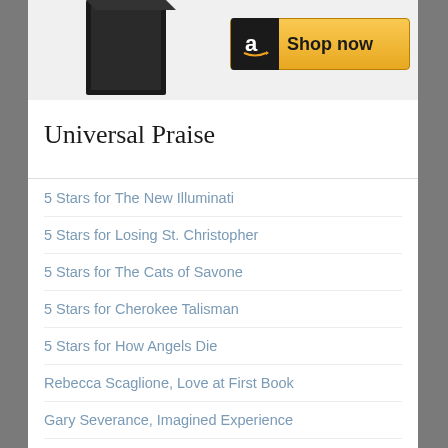[Figure (photo): Partial book cover image visible at top left]
[Figure (infographic): Amazon 'Shop now' button with black Amazon logo and gold/yellow background]
Universal Praise
5 Stars for The New Illuminati
5 Stars for Losing St. Christopher
5 Stars for The Cats of Savone
5 Stars for Cherokee Talisman
5 Stars for How Angels Die
Rebecca Scaglione, Love at First Book
Gary Severance, Imagined Experience
Amazon Reviews
Book Reader's Heaven